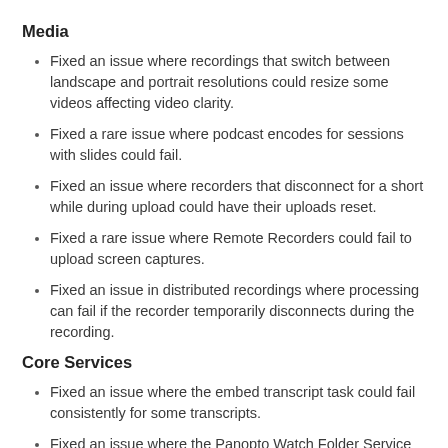Media
Fixed an issue where recordings that switch between landscape and portrait resolutions could resize some videos affecting video clarity.
Fixed a rare issue where podcast encodes for sessions with slides could fail.
Fixed an issue where recorders that disconnect for a short while during upload could have their uploads reset.
Fixed a rare issue where Remote Recorders could fail to upload screen captures.
Fixed an issue in distributed recordings where processing can fail if the recorder temporarily disconnects during the recording.
Core Services
Fixed an issue where the embed transcript task could fail consistently for some transcripts.
Fixed an issue where the Panopto Watch Folder Service would